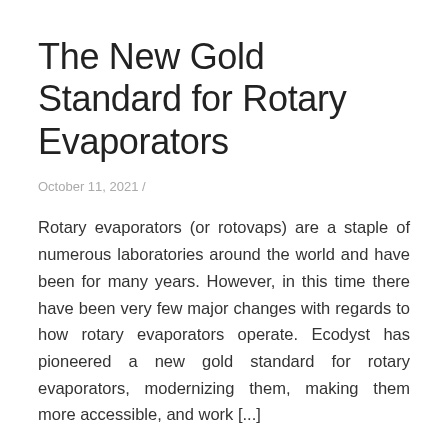The New Gold Standard for Rotary Evaporators
October 11, 2021 /
Rotary evaporators (or rotovaps) are a staple of numerous laboratories around the world and have been for many years. However, in this time there have been very few major changes with regards to how rotary evaporators operate. Ecodyst has pioneered a new gold standard for rotary evaporators, modernizing them, making them more accessible, and work [...]